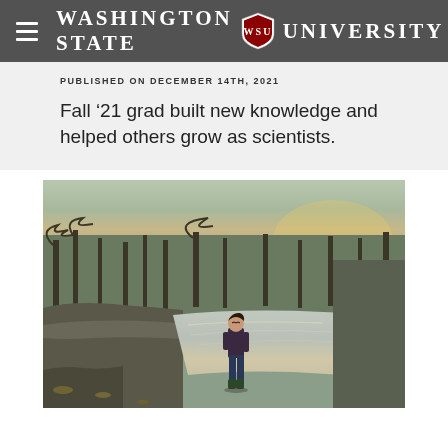Washington State University
PUBLISHED ON DECEMBER 14TH, 2021
Fall ’21 grad built new knowledge and helped others grow as scientists.
[Figure (photo): Person standing by a river with trees and a sunset in the background, wearing a plaid jacket and green boots]